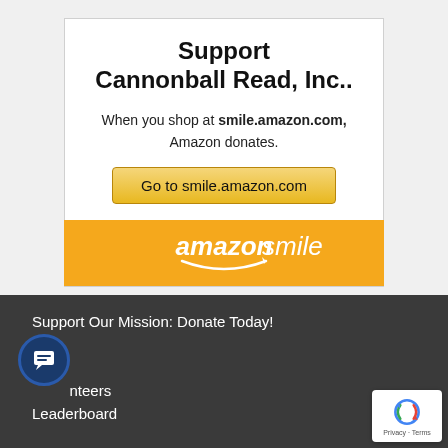Support Cannonball Read, Inc..
When you shop at smile.amazon.com, Amazon donates.
Go to smile.amazon.com
[Figure (logo): Amazon Smile orange logo bar with white italic text 'amazonsmile' and smile arrow graphic]
Support Our Mission: Donate Today!
FAQ
Shop
Volunteers
Leaderboard
[Figure (other): reCAPTCHA badge with Privacy and Terms text]
[Figure (other): Chat bubble icon button]